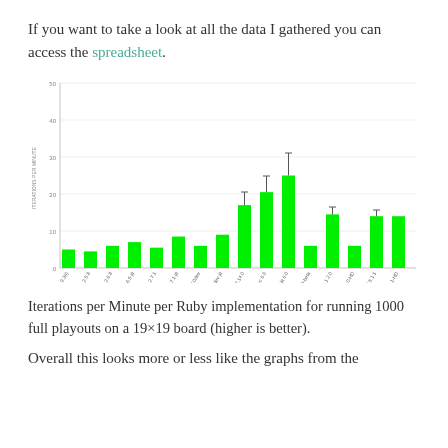If you want to take a look at all the data I gathered you can access the spreadsheet.
[Figure (bar-chart): Iterations per Minute per Ruby implementation]
Iterations per Minute per Ruby implementation for running 1000 full playouts on a 19×19 board (higher is better).
Overall this looks more or less like the graphs from the